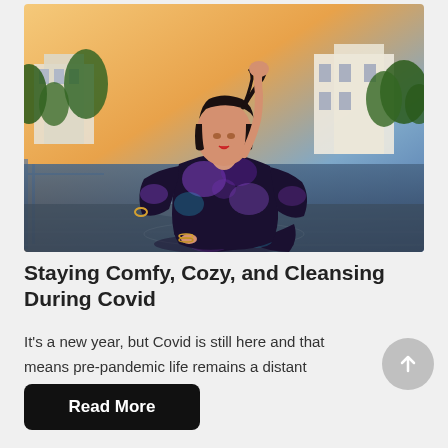[Figure (photo): Woman kneeling outdoors near a pool, wearing a dark purple/navy tie-dye sweatshirt and matching leggings, holding her hair, with trees and buildings in the background at dusk.]
Staying Comfy, Cozy, and Cleansing During Covid
It's a new year, but Covid is still here and that means pre-pandemic life remains a distant memory.  Our homes ...
Read More